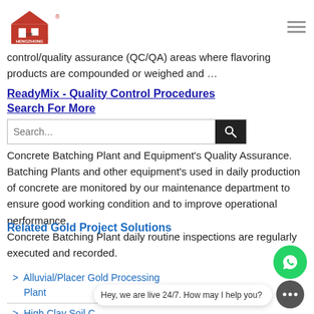[Figure (logo): HengZhong company logo with red house/building icon and registered trademark symbol]
control/quality assurance (QC/QA) areas where flavoring products are compounded or weighed and …
ReadyMix - Quality Control Procedures Search For More
Concrete Batching Plant and Equipment's Quality Assurance. Batching Plants and other equipment's used in daily production of concrete are monitored by our maintenance department to ensure good working condition and to improve operational performance. Concrete Batching Plant daily routine inspections are regularly executed and recorded.
Related Gold Project Solutions
Alluvial/Placer Gold Processing Plant
High Clay Soil C...
lb3000 240tph th...
machinery commercial mixer parts ultratech project
[Figure (screenshot): Search bar with text input and dark search button with magnifying glass icon]
[Figure (illustration): WhatsApp green chat icon and chat bubble saying Hey, we are live 24/7. How may I help you?]